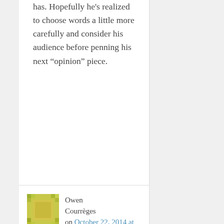has. Hopefully he's realized to choose words a little more carefully and consider his audience before penning his next “opinion” piece.
[Figure (other): User avatar for Owen Courrèges - yellow/green pixel art style square avatar]
Owen Courrèges on October 22, 2014 at 4:38 pm said:
sooperpaz,

I didn't “put down entire sectors of the population.” My argument was against Landrieu has his